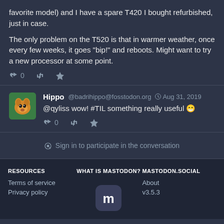favorite model) and I have a spare T420 I bought refurbished, just in case.

The only problem on the T520 is that in warmer weather, once every few weeks, it goes "bip!" and reboots. Might want to try a new processor at some point.
Hippo @badrihippo@fosstodon.org Aug 31, 2019
@qyliss wow! #TIL something really useful 😁
Sign in to participate in the conversation
RESOURCES | WHAT IS MASTODON? | MASTODON.SOCIAL
Terms of service | About
Privacy policy | v3.5.3